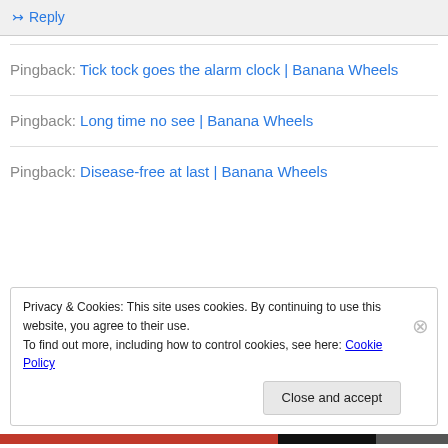Reply
Pingback: Tick tock goes the alarm clock | Banana Wheels
Pingback: Long time no see | Banana Wheels
Pingback: Disease-free at last | Banana Wheels
Privacy & Cookies: This site uses cookies. By continuing to use this website, you agree to their use.
To find out more, including how to control cookies, see here: Cookie Policy
Close and accept